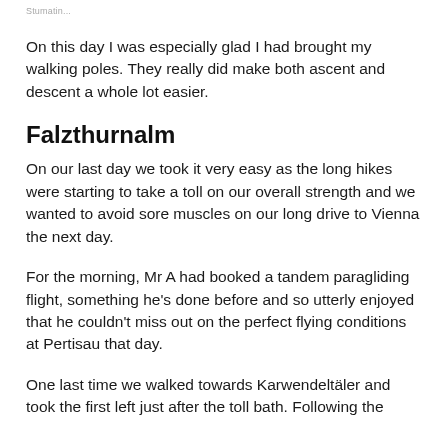Stumatin...
On this day I was especially glad I had brought my walking poles. They really did make both ascent and descent a whole lot easier.
Falzthurnalm
On our last day we took it very easy as the long hikes were starting to take a toll on our overall strength and we wanted to avoid sore muscles on our long drive to Vienna the next day.
For the morning, Mr A had booked a tandem paragliding flight, something he's done before and so utterly enjoyed that he couldn't miss out on the perfect flying conditions at Pertisau that day.
One last time we walked towards Karwendeltäler and took the first left just after the toll bath. Following the